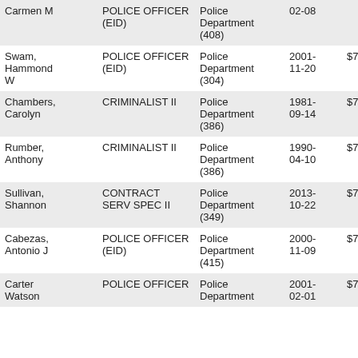| Name | Title | Department | Date | Base Pay | Total Pay | Difference |
| --- | --- | --- | --- | --- | --- | --- |
| Carmen M | POLICE OFFICER (EID) | Police Department (408) | 02-08 |  |  |  |
| Swam, Hammond W | POLICE OFFICER (EID) | Police Department (304) | 2001-11-20 | $70,967.00 | $94,458.49 | $23,4... |
| Chambers, Carolyn | CRIMINALIST II | Police Department (386) | 1981-09-14 | $71,000.00 | $86,636.59 | $15,6... |
| Rumber, Anthony | CRIMINALIST II | Police Department (386) | 1990-04-10 | $71,000.00 | $77,555.47 | $6,55... |
| Sullivan, Shannon | CONTRACT SERV SPEC II | Police Department (349) | 2013-10-22 | $71,282.00 | $45,819.24 | -$25,... |
| Cabezas, Antonio J | POLICE OFFICER (EID) | Police Department (415) | 2000-11-09 | $71,626.00 | $88,982.76 | $17,3... |
| Carter Watson | POLICE OFFICER | Police Department | 2001-02-01 | $71,626.00 | $98,662.76 | $27,0... |